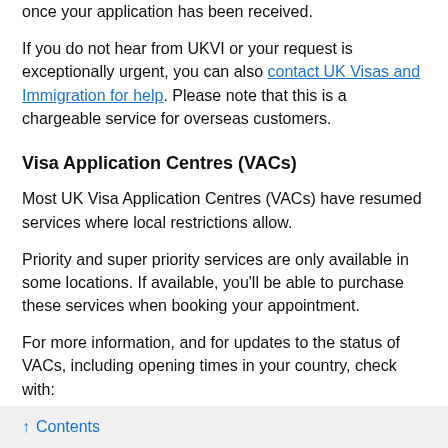once your application has been received.
If you do not hear from UKVI or your request is exceptionally urgent, you can also contact UK Visas and Immigration for help. Please note that this is a chargeable service for overseas customers.
Visa Application Centres (VACs)
Most UK Visa Application Centres (VACs) have resumed services where local restrictions allow.
Priority and super priority services are only available in some locations. If available, you’ll be able to purchase these services when booking your appointment.
For more information, and for updates to the status of VACs, including opening times in your country, check with:
TLS contact if you’re in Europe, Africa and parts of the Middle East
↑ Contents